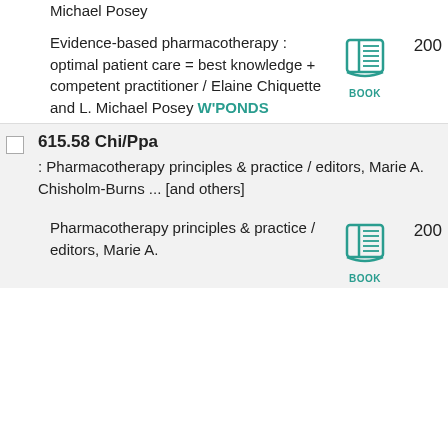Michael Posey
Evidence-based pharmacotherapy : optimal patient care = best knowledge + competent practitioner / Elaine Chiquette and L. Michael Posey W'PONDS
[Figure (illustration): Book icon with label BOOK in teal color]
200
615.58 Chi/Ppa
: Pharmacotherapy principles & practice / editors, Marie A. Chisholm-Burns ... [and others]
Pharmacotherapy principles & practice / editors, Marie A.
[Figure (illustration): Book icon with label BOOK in teal color]
200